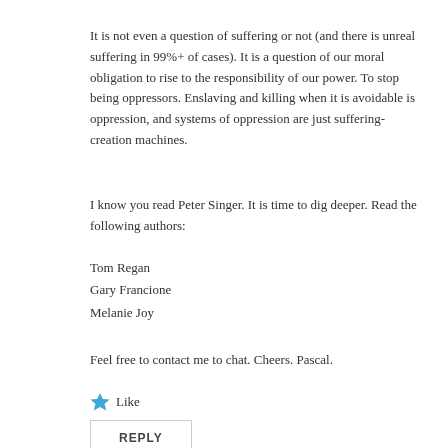It is not even a question of suffering or not (and there is unreal suffering in 99%+ of cases). It is a question of our moral obligation to rise to the responsibility of our power. To stop being oppressors. Enslaving and killing when it is avoidable is oppression, and systems of oppression are just suffering-creation machines.
I know you read Peter Singer. It is time to dig deeper. Read the following authors:
Tom Regan
Gary Francione
Melanie Joy
Feel free to contact me to chat. Cheers. Pascal.
Like
REPLY